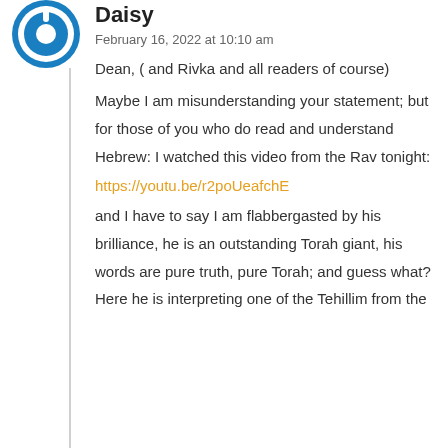[Figure (logo): Blue circular power button icon avatar]
Daisy
February 16, 2022 at 10:10 am
Dean, ( and Rivka and all readers of course)
Maybe I am misunderstanding your statement; but for those of you who do read and understand Hebrew: I watched this video from the Rav tonight:
https://youtu.be/r2poUeafchE
and I have to say I am flabbergasted by his brilliance, he is an outstanding Torah giant, his words are pure truth, pure Torah; and guess what? Here he is interpreting one of the Tehillim from the